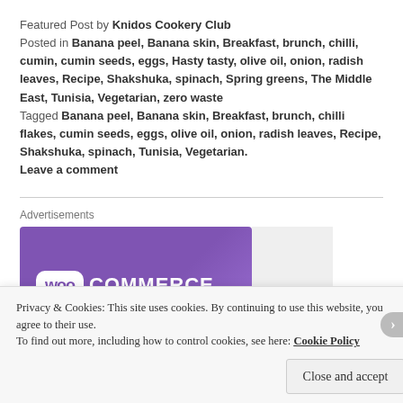Featured Post by Knidos Cookery Club
Posted in Banana peel, Banana skin, Breakfast, brunch, chilli, cumin, cumin seeds, eggs, Hasty tasty, olive oil, onion, radish leaves, Recipe, Shakshuka, spinach, Spring greens, The Middle East, Tunisia, Vegetarian, zero waste
Tagged Banana peel, Banana skin, Breakfast, brunch, chilli flakes, cumin seeds, eggs, olive oil, onion, radish leaves, Recipe, Shakshuka, spinach, Tunisia, Vegetarian.
Leave a comment
[Figure (screenshot): WooCommerce advertisement banner with purple background and white WooCommerce logo]
Privacy & Cookies: This site uses cookies. By continuing to use this website, you agree to their use.
To find out more, including how to control cookies, see here: Cookie Policy
Close and accept